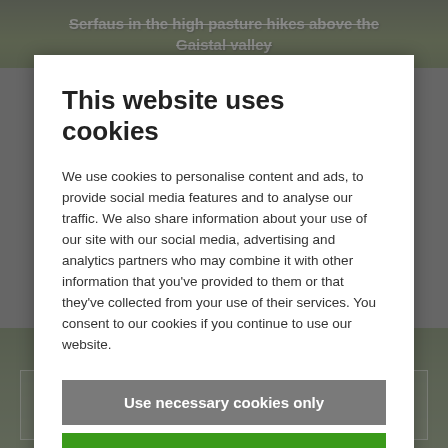[Figure (photo): Background photo of a green alpine meadow/valley scene visible behind a cookie consent dialog. Top portion shows text overlaid on a mountain landscape image, bottom portion shows a person in a field with mountain tour caption.]
This website uses cookies
We use cookies to personalise content and ads, to provide social media features and to analyse our traffic. We also share information about your use of our site with our social media, advertising and analytics partners who may combine it with other information that you've provided to them or that they've collected from your use of their services. You consent to our cookies if you continue to use our website.
Use necessary cookies only
Allow all cookies
Show details
Mountain tour: The 5 most beautiful summit tours